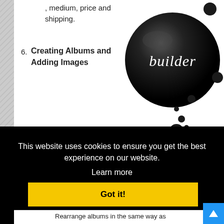, medium, price and shipping.
6. Creating Albums and Adding Images
Found Myself
[Figure (logo): Builder logo: large black glossy sphere with italic white text 'builder', with smaller black circles/bubbles scattered below and around it]
This website uses cookies to ensure you get the best experience on our website.
Learn more
Got it!
Rearrange albums in the same way as